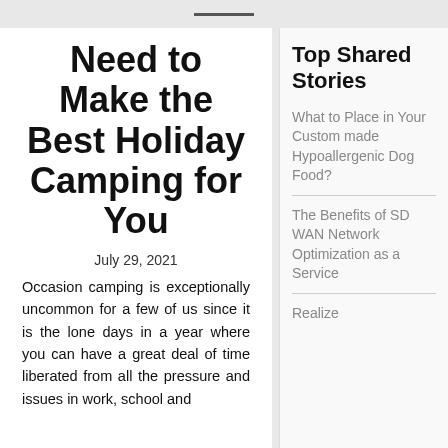Need to Make the Best Holiday Camping for You
July 29, 2021
Occasion camping is exceptionally uncommon for a few of us since it is the lone days in a year where you can have a great deal of time liberated from all the pressure and issues in work, school and
Top Shared Stories
What to Place in Your Custom made Hypoallergenic Dog Food?
The Benefits of SD WAN Network Optimization as a Service
Realize